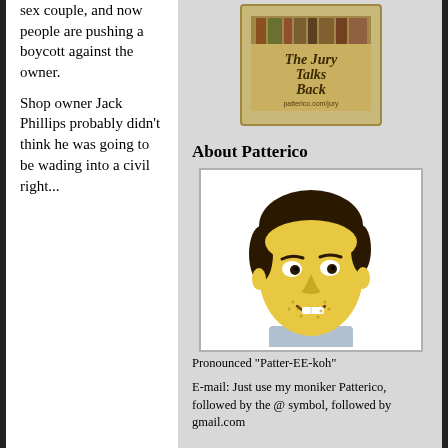sex couple, and now people are pushing a boycott against the owner.
Shop owner Jack Phillips probably didn't think he was going to be wading into a civil right...
[Figure (illustration): The Jury Talks Back podcast logo - golden/yellow background with dark text reading 'The Jury Talks Back' and URL patterico.com/jury]
About Patterico
[Figure (illustration): Cartoon/illustrated portrait of Patterico - yellow-skinned caricature of a man with dark hair, stubble, slight smirk]
Pronounced "Patter-EE-koh"
E-mail: Just use my moniker Patterico, followed by the @ symbol, followed by gmail.com